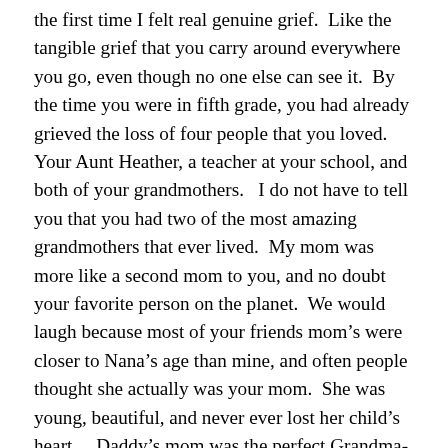the first time I felt real genuine grief.  Like the tangible grief that you carry around everywhere you go, even though no one else can see it.  By the time you were in fifth grade, you had already grieved the loss of four people that you loved.  Your Aunt Heather, a teacher at your school, and both of your grandmothers.   I do not have to tell you that you had two of the most amazing grandmothers that ever lived.  My mom was more like a second mom to you, and no doubt your favorite person on the planet.  We would laugh because most of your friends mom's were closer to Nana's age than mine, and often people thought she actually was your mom.  She was young, beautiful, and never ever lost her child's heart.   Daddy's mom was the perfect Grandma- broke all our rules and was the only other human I've ever known to have as much energy as you- which meant that she